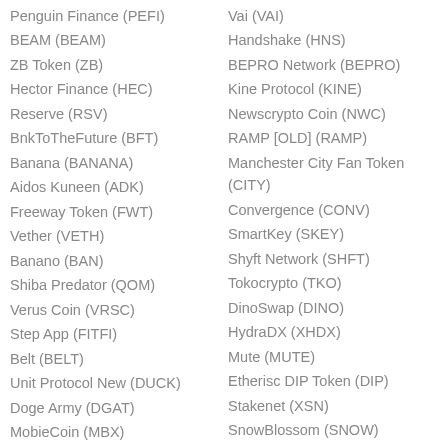Penguin Finance (PEFI)
Vai (VAI)
BEAM (BEAM)
Handshake (HNS)
ZB Token (ZB)
BEPRO Network (BEPRO)
Hector Finance (HEC)
Kine Protocol (KINE)
Reserve (RSV)
Newscrypto Coin (NWC)
BnkToTheFuture (BFT)
RAMP [OLD] (RAMP)
Banana (BANANA)
Manchester City Fan Token (CITY)
Aidos Kuneen (ADK)
Convergence (CONV)
Freeway Token (FWT)
SmartKey (SKEY)
Vether (VETH)
Shyft Network (SHFT)
Banano (BAN)
Tokocrypto (TKO)
Shiba Predator (QOM)
DinoSwap (DINO)
Verus Coin (VRSC)
HydraDX (XHDX)
Step App (FITFI)
Mute (MUTE)
Belt (BELT)
Etherisc DIP Token (DIP)
Unit Protocol New (DUCK)
Stakenet (XSN)
Doge Army (DGAT)
SnowBlossom (SNOW)
MobieCoin (MBX)
Bytom (BTM)
Volt Inu (VOLT)